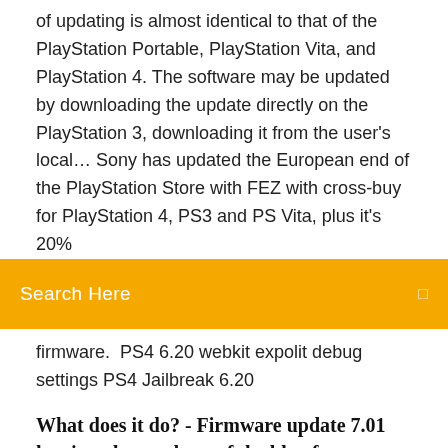of updating is almost identical to that of the PlayStation Portable, PlayStation Vita, and PlayStation 4. The software may be updated by downloading the update directly on the PlayStation 3, downloading it from the user's local… Sony has updated the European end of the PlayStation Store with FEZ with cross-buy for PlayStation 4, PS3 and PS Vita, plus it's 20%
[Figure (screenshot): Orange search bar with text 'Search Here' and a small icon on the right]
firmware. PS4 6.20 webkit expolit debug settings PS4 Jailbreak 6.20
What does it do? - Firmware update 7.01 has just dropped out of the blue for PlayStation 4, meaning it's available to down
Know Support: System Software Update | PS4, PS3, PS Vita, PSP – PlayStation, for Playstation console from the official PlayStation website. Explore Support: System Software Update | PS4, PS3, PS Vita, PSP – PlayStation game detail, demo... Get